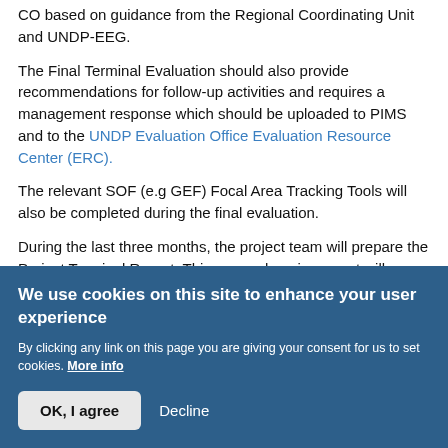CO based on guidance from the Regional Coordinating Unit and UNDP-EEG.
The Final Terminal Evaluation should also provide recommendations for follow-up activities and requires a management response which should be uploaded to PIMS and to the UNDP Evaluation Office Evaluation Resource Center (ERC).
The relevant SOF (e.g GEF) Focal Area Tracking Tools will also be completed during the final evaluation.
During the last three months, the project team will prepare the Project Terminal Report. This comprehensive report will
We use cookies on this site to enhance your user experience
By clicking any link on this page you are giving your consent for us to set cookies. More info
OK, I agree
Decline